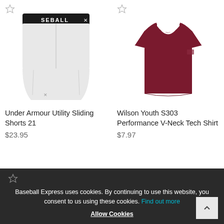[Figure (photo): White Under Armour compression/sliding shorts with black waistband reading 'BASEBALL' and Under Armour logo]
Under Armour Utility Sliding Shorts 21
$23.95
[Figure (photo): Dark maroon/burgundy Wilson Youth V-neck short sleeve t-shirt with white trim at neck and sleeves]
Wilson Youth S303 Performance V-Neck Tech Shirt
$7.97
Baseball Express uses cookies. By continuing to use this website, you consent to us using these cookies. Find out more Allow Cookies